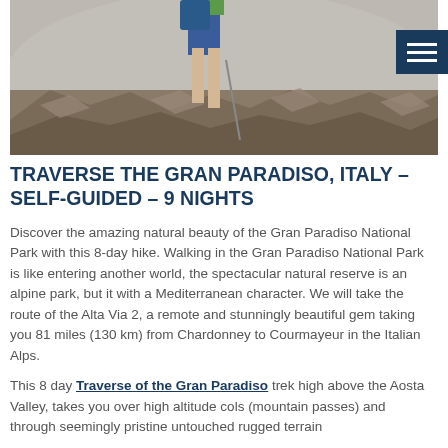[Figure (photo): A hiker on rocky mountain terrain at the Gran Paradiso National Park. The lower body of a person in blue shorts and green top carrying a blue backpack and trekking pole is visible. Rocky alpine landscape with hazy mountains in background.]
TRAVERSE THE GRAN PARADISO, ITALY – SELF-GUIDED – 9 NIGHTS
Discover the amazing natural beauty of the Gran Paradiso National Park with this 8-day hike. Walking in the Gran Paradiso National Park is like entering another world, the spectacular natural reserve is an alpine park, but it with a Mediterranean character. We will take the route of the Alta Via 2, a remote and stunningly beautiful gem taking you 81 miles (130 km) from Chardonney to Courmayeur in the Italian Alps.
This 8 day Traverse of the Gran Paradiso trek high above the Aosta Valley, takes you over high altitude cols (mountain passes) and through seemingly pristine untouched rugged terrain